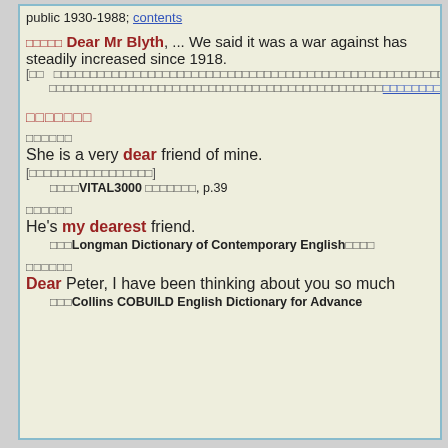public 1930-1988; contents
□□□□□ Dear Mr Blyth, ... We said it was a war against ... has steadily increased since 1918.
[□□ □□□□ □□□□□□□□□□□□□□□□□□□□□□□□□□□□□□□□□□□□□□□□□□□□□□□□□□□□□□□□□□□□□□□□□□□□□□□□□□□□□□□□□□□□□□□□□□□□□□□□□□□□□□□□□□□□□□□□□□□□□□□□]
□□□□□□□
□□□□□□
She is a very dear friend of mine.
[□□□□□□□□□□□□□□□]
□□□□VITAL3000 □□□□□□□, p.39
□□□□□□
He's my dearest friend.
□□□Longman Dictionary of Contemporary English□□□□
□□□□□□
Dear Peter, I have been thinking about you so much...
□□□Collins COBUILD English Dictionary for Advance...